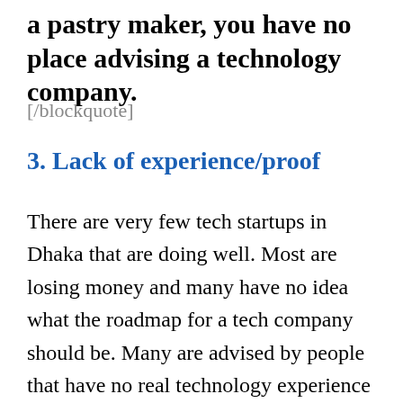a pastry maker, you have no place advising a technology company.
[/blockquote]
3. Lack of experience/proof
There are very few tech startups in Dhaka that are doing well. Most are losing money and many have no idea what the roadmap for a tech company should be. Many are advised by people that have no real technology experience and no wins under their belts as far as past successes. So in turn, this is putting a lot of bad knowledge out